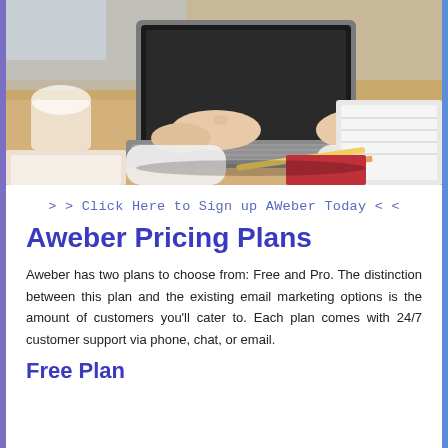[Figure (photo): Person typing on a laptop at a wooden desk with notebooks and a pencil nearby, viewed from above at an angle.]
> > Click Here to Sign up AWeber Today < <
Aweber Pricing Plans
Aweber has two plans to choose from: Free and Pro. The distinction between this plan and the existing email marketing options is the amount of customers you'll cater to. Each plan comes with 24/7 customer support via phone, chat, or email.
Free Plan